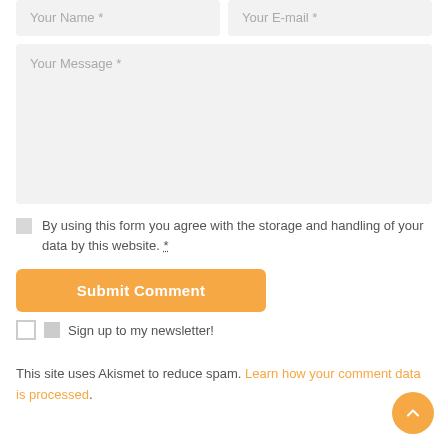Your Name *
Your E-mail *
Your Message *
By using this form you agree with the storage and handling of your data by this website. *
Submit Comment
Sign up to my newsletter!
This site uses Akismet to reduce spam. Learn how your comment data is processed.